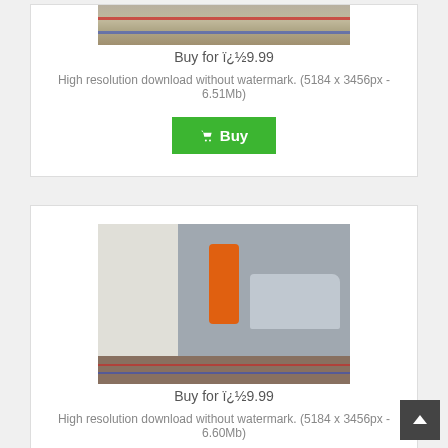[Figure (photo): Partial view of a road/track surface with red and blue lines, bottom portion of a triathlon or cycling event photo]
Buy for ï¿½9.99
High resolution download without watermark. (5184 x 3456px - 6.51Mb)
[Figure (other): Green Buy button with shopping cart icon]
[Figure (photo): Cyclist wearing an orange jacket and helmet riding a road bike during a triathlon event on a town street, with a silver estate car, a dog, and spectators in the background]
Buy for ï¿½9.99
High resolution download without watermark. (5184 x 3456px - 6.60Mb)